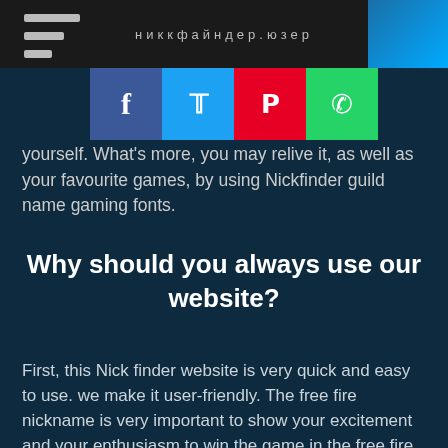nickfinder.com
[Figure (other): Social share buttons: Facebook, Twitter, Pinterest, WhatsApp]
yourself. What's more, you may relive it, as well as your favourite games, by using Nickfinder guild name gaming fonts.
Why should you always use our website?
First, this Nick finder website is very quick and easy to use. we make it user-friendly. The free fire nickname is very important to show your excitement and your enthusiasm to win the game in the free fire.
Our website has lots of Amazing pre-made free fire nicknames and also lots of nicknames for girls and boys. You can simply click on any nickname that you want to use in your profile nickname and it will be copied automatically.